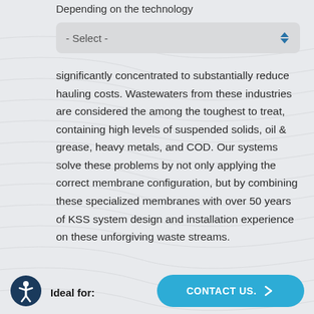Depending on the technology
- Select -
significantly concentrated to substantially reduce hauling costs. Wastewaters from these industries are considered the among the toughest to treat, containing high levels of suspended solids, oil & grease, heavy metals, and COD. Our systems solve these problems by not only applying the correct membrane configuration, but by combining these specialized membranes with over 50 years of KSS system design and installation experience on these unforgiving waste streams.
Ideal for:
CONTACT US.